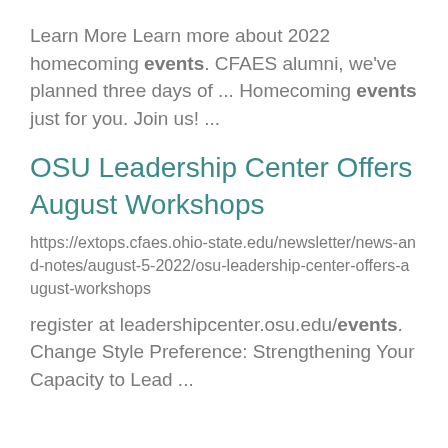Learn More Learn more about 2022 homecoming events. CFAES alumni, we've planned three days of ... Homecoming events just for you. Join us! ...
OSU Leadership Center Offers August Workshops
https://extops.cfaes.ohio-state.edu/newsletter/news-and-notes/august-5-2022/osu-leadership-center-offers-august-workshops
register at leadershipcenter.osu.edu/events. Change Style Preference: Strengthening Your Capacity to Lead ...